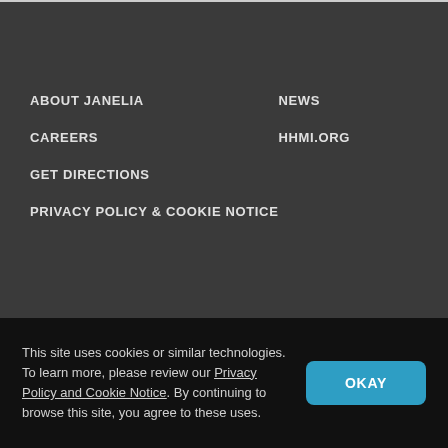ABOUT JANELIA
CAREERS
GET DIRECTIONS
PRIVACY POLICY & COOKIE NOTICE
NEWS
HHMI.ORG
[Figure (infographic): Social media icons row: location pin, Facebook f, Twitter bird, Instagram camera. Second row: phone icon. All white icons on dark grey background with divider lines.]
This site uses cookies or similar technologies. To learn more, please review our Privacy Policy and Cookie Notice. By continuing to browse this site, you agree to these uses.
OKAY